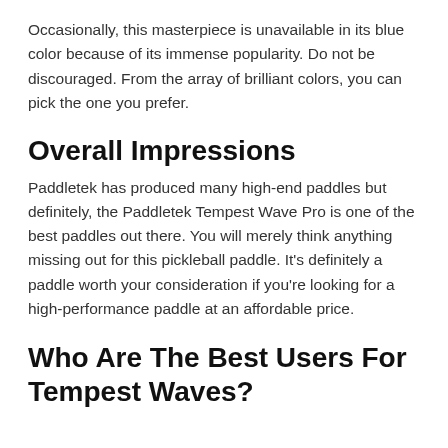Occasionally, this masterpiece is unavailable in its blue color because of its immense popularity. Do not be discouraged. From the array of brilliant colors, you can pick the one you prefer.
Overall Impressions
Paddletek has produced many high-end paddles but definitely, the Paddletek Tempest Wave Pro is one of the best paddles out there. You will merely think anything missing out for this pickleball paddle. It's definitely a paddle worth your consideration if you're looking for a high-performance paddle at an affordable price.
Who Are The Best Users For Tempest Waves?